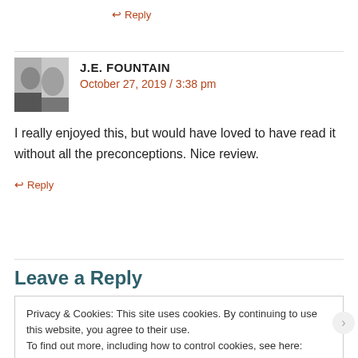↩ Reply
J.E. FOUNTAIN
October 27, 2019 / 3:38 pm
I really enjoyed this, but would have loved to have read it without all the preconceptions. Nice review.
↩ Reply
Leave a Reply
Privacy & Cookies: This site uses cookies. By continuing to use this website, you agree to their use.
To find out more, including how to control cookies, see here: Cookie Policy
Close and accept